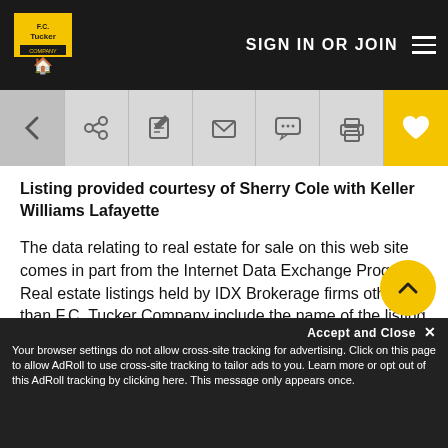F.C. Tucker Company — SIGN IN OR JOIN
[Figure (screenshot): Website toolbar with back arrow, share, edit, email, chat, print, and favorite (heart) icons on a gray background]
Listing provided courtesy of Sherry Cole with Keller Williams Lafayette
The data relating to real estate for sale on this web site comes in part from the Internet Data Exchange Program. Real estate listings held by IDX Brokerage firms other than F.C. Tucker Company include the name of the listing IDX broker. This information is provided exclusively for personal, non-commercial use and may not be used for any purpose other than to identify prospective properties consumers may be interested in purchasing. The broker providing this data believes it to be correct, but advises interested parties to confirm them before relying on them in a purchase decision. Information deemed reliable but not guaranteed.
Accept and Close ✕ Your browser settings do not allow cross-site tracking for advertising. Click on this page to allow AdRoll to use cross-site tracking to tailor ads to you. Learn more or opt out of this AdRoll tracking by clicking here. This message only appears once.